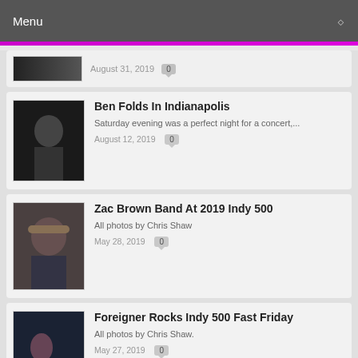Menu
August 31, 2019  0
Ben Folds In Indianapolis
Saturday evening was a perfect night for a concert,...
August 12, 2019  0
Zac Brown Band At 2019 Indy 500
All photos by Chris Shaw
May 28, 2019  0
Foreigner Rocks Indy 500 Fast Friday
All photos by Chris Shaw.
May 27, 2019  0